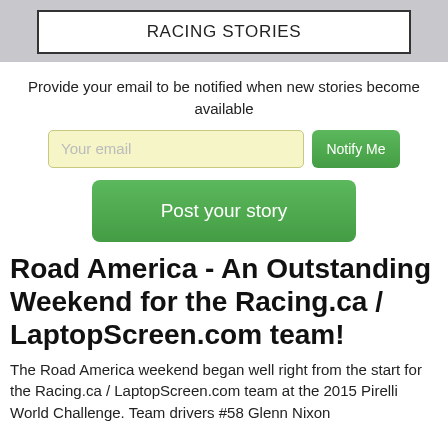RACING STORIES
Provide your email to be notified when new stories become available
[Figure (screenshot): Email input field with placeholder 'Your email' and a green 'Notify Me' button]
[Figure (screenshot): Green 'Post your story' button]
Road America - An Outstanding Weekend for the Racing.ca / LaptopScreen.com team!
The Road America weekend began well right from the start for the Racing.ca / LaptopScreen.com team at the 2015 Pirelli World Challenge. Team drivers #58 Glenn Nixon